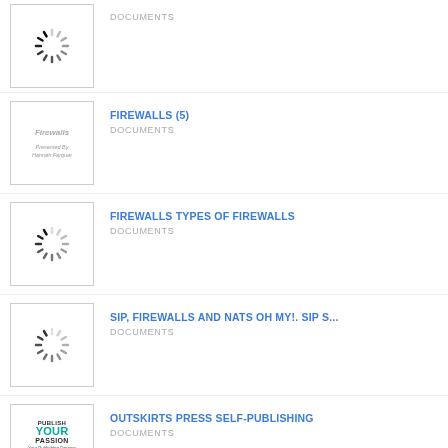[Figure (other): Loading spinner thumbnail]
DOCUMENTS
[Figure (other): Firewalls document thumbnail with text 'Firewalls' centered]
FIREWALLS (5)
DOCUMENTS
[Figure (other): Loading spinner thumbnail]
FIREWALLS TYPES OF FIREWALLS
DOCUMENTS
[Figure (other): Loading spinner thumbnail]
SIP, FIREWALLS AND NATS OH MY!. SIP S...
DOCUMENTS
[Figure (illustration): Publish Your Passion book cover thumbnail with teal YOUR text]
OUTSKIRTS PRESS SELF-PUBLISHING
DOCUMENTS